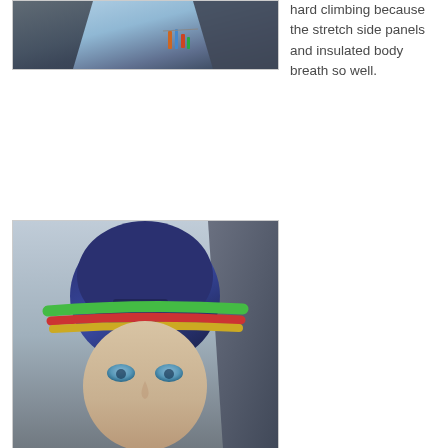[Figure (photo): A climber on a rock face with ice/snow background, climbing equipment visible]
hard climbing because the stretch side panels and insulated body breath so well.
[Figure (photo): Close-up portrait of a person wearing a dark climbing helmet with colorful goggles (green, red, yellow) pushed up on the helmet, with blue eyes visible, against a rock background]